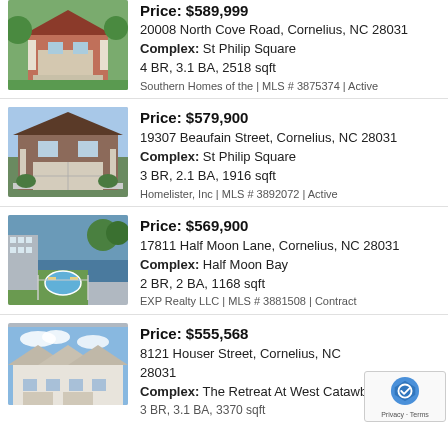[Figure (photo): House exterior photo - partial listing at top]
Price: $589,999
20008 North Cove Road, Cornelius, NC 28031
Complex: St Philip Square
4 BR, 3.1 BA, 2518 sqft
Southern Homes of the | MLS # 3875374 | Active
[Figure (photo): Brick two-story house with garage and steps]
Price: $579,900
19307 Beaufain Street, Cornelius, NC 28031
Complex: St Philip Square
3 BR, 2.1 BA, 1916 sqft
Homelister, Inc | MLS # 3892072 | Active
[Figure (photo): Aerial view of waterfront property with pool]
Price: $569,900
17811 Half Moon Lane, Cornelius, NC 28031
Complex: Half Moon Bay
2 BR, 2 BA, 1168 sqft
EXP Realty LLC | MLS # 3881508 | Contract
[Figure (photo): White house exterior with blue sky]
Price: $555,568
8121 Houser Street, Cornelius, NC 28031
Complex: The Retreat At West Catawba
3 BR, 3.1 BA, 3370 sqft